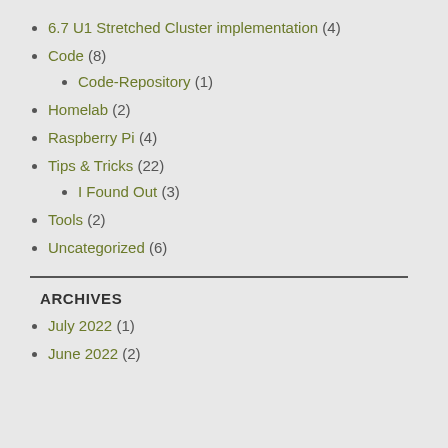6.7 U1 Stretched Cluster implementation (4)
Code (8)
Code-Repository (1)
Homelab (2)
Raspberry Pi (4)
Tips & Tricks (22)
I Found Out (3)
Tools (2)
Uncategorized (6)
ARCHIVES
July 2022 (1)
June 2022 (2)